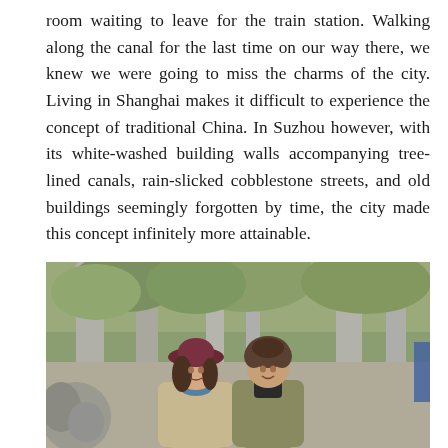room waiting to leave for the train station. Walking along the canal for the last time on our way there, we knew we were going to miss the charms of the city. Living in Shanghai makes it difficult to experience the concept of traditional China. In Suzhou however, with its white-washed building walls accompanying tree-lined canals, rain-slicked cobblestone streets, and old buildings seemingly forgotten by time, the city made this concept infinitely more attainable.
[Figure (photo): Two people (a woman wearing a dark red/maroon hat and a man with curly hair) standing together outdoors among trees, smiling at the camera. The background shows large trees with grey bark and green foliage, suggesting a park or garden setting.]